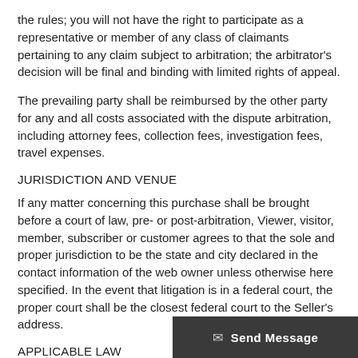the rules; you will not have the right to participate as a representative or member of any class of claimants pertaining to any claim subject to arbitration; the arbitrator's decision will be final and binding with limited rights of appeal.
The prevailing party shall be reimbursed by the other party for any and all costs associated with the dispute arbitration, including attorney fees, collection fees, investigation fees, travel expenses.
JURISDICTION AND VENUE
If any matter concerning this purchase shall be brought before a court of law, pre- or post-arbitration, Viewer, visitor, member, subscriber or customer agrees to that the sole and proper jurisdiction to be the state and city declared in the contact information of the web owner unless otherwise here specified. In the event that litigation is in a federal court, the proper court shall be the closest federal court to the Seller's address.
APPLICABLE LAW